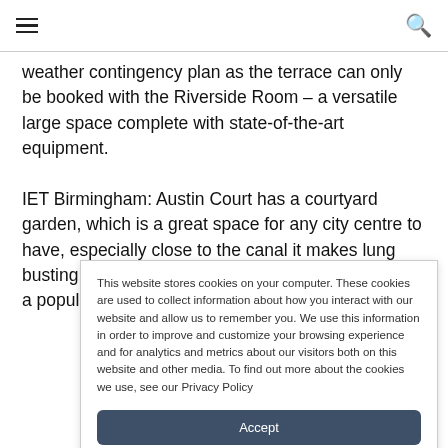☰ [menu] [search]
weather contingency plan as the terrace can only be booked with the Riverside Room – a versatile large space complete with state-of-the-art equipment.

IET Birmingham: Austin Court has a courtyard garden, which is a great space for any city centre to have, especially close to the canal it makes lung busting fresh air walks around the UK's second city a popular past time. The space can even be
This website stores cookies on your computer. These cookies are used to collect information about how you interact with our website and allow us to remember you. We use this information in order to improve and customize your browsing experience and for analytics and metrics about our visitors both on this website and other media. To find out more about the cookies we use, see our Privacy Policy
Accept